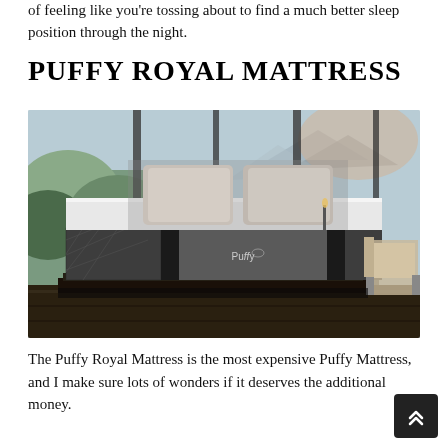of feeling like you're tossing about to find a much better sleep position through the night.
PUFFY ROYAL MATTRESS
[Figure (photo): A Puffy Royal Mattress on a platform bed in a stylish bedroom with large floor-to-ceiling windows showing a mountain landscape. The mattress has a grey quilted base and a white top. A beige chair is visible to the right. The Puffy logo is visible on the front of the mattress.]
The Puffy Royal Mattress is the most expensive Puffy Mattress, and I make sure lots of wonders if it deserves the additional money.